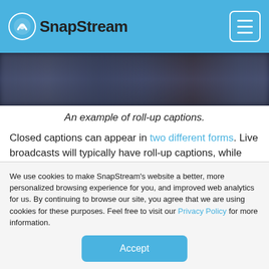SnapStream
[Figure (screenshot): A blurred/darkened horizontal strip showing a TV broadcast caption example]
An example of roll-up captions.
Closed captions can appear in two different forms. Live broadcasts will typically have roll-up captions, while pre-recorded broadcasts will typically have pop-on captions.
When the second line in a roll-up caption format begins, the
We use cookies to make SnapStream's website a better, more personalized browsing experience for you, and improved web analytics for us. By continuing to browse our site, you agree that we are using cookies for these purposes. Feel free to visit our Privacy Policy for more information.